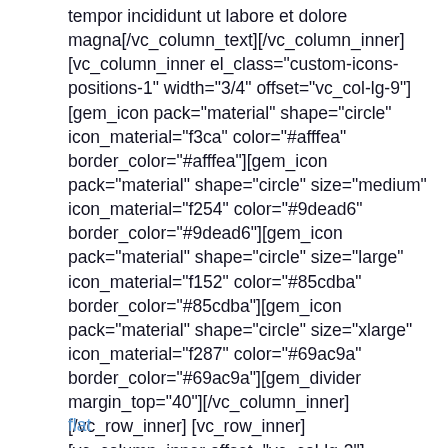tempor incididunt ut labore et dolore magna[/vc_column_text][/vc_column_inner][vc_column_inner el_class="custom-icons-positions-1" width="3/4" offset="vc_col-lg-9"][gem_icon pack="material" shape="circle" icon_material="f3ca" color="#afffea" border_color="#afffea"][gem_icon pack="material" shape="circle" size="medium" icon_material="f254" color="#9dead6" border_color="#9dead6"][gem_icon pack="material" shape="circle" size="large" icon_material="f152" color="#85cdba" border_color="#85cdba"][gem_icon pack="material" shape="circle" size="xlarge" icon_material="f287" color="#69ac9a" border_color="#69ac9a"][gem_divider margin_top="40"][/vc_column_inner][/vc_row_inner][vc_row_inner][vc_column_inner offset="vc_col-lg-3"][gem_divider margin_top="104"][vc_column_text]
flat